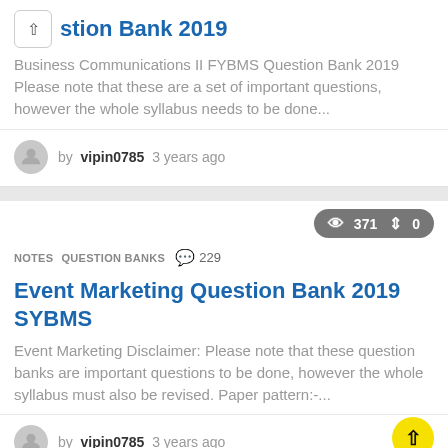stion Bank 2019
Business Communications II FYBMS Question Bank 2019 Please note that these are a set of important questions, however the whole syllabus needs to be done...
by vipin0785 3 years ago
371  0
NOTES  QUESTION BANKS  229
Event Marketing Question Bank 2019 SYBMS
Event Marketing Disclaimer: Please note that these question banks are important questions to be done, however the whole syllabus must also be revised. Paper pattern:-...
by vipin0785 3 years ago